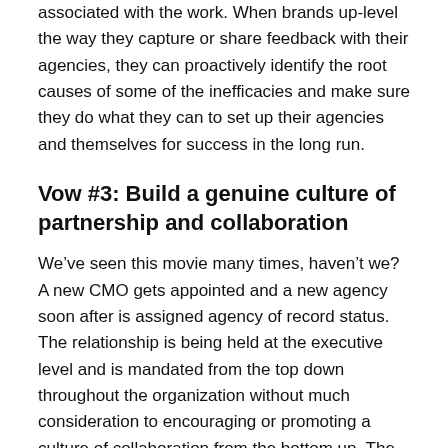associated with the work. When brands up-level the way they capture or share feedback with their agencies, they can proactively identify the root causes of some of the inefficacies and make sure they do what they can to set up their agencies and themselves for success in the long run.
Vow #3: Build a genuine culture of partnership and collaboration
We've seen this movie many times, haven't we? A new CMO gets appointed and a new agency soon after is assigned agency of record status. The relationship is being held at the executive level and is mandated from the top down throughout the organization without much consideration to encouraging or promoting a culture of collaboration from the bottom up. The significant turnover in